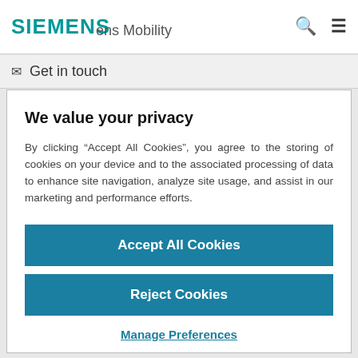SIEMENS | ens Mobility
Get in touch
We value your privacy
By clicking “Accept All Cookies”, you agree to the storing of cookies on your device and to the associated processing of data to enhance site navigation, analyze site usage, and assist in our marketing and performance efforts.
Accept All Cookies
Reject Cookies
Manage Preferences